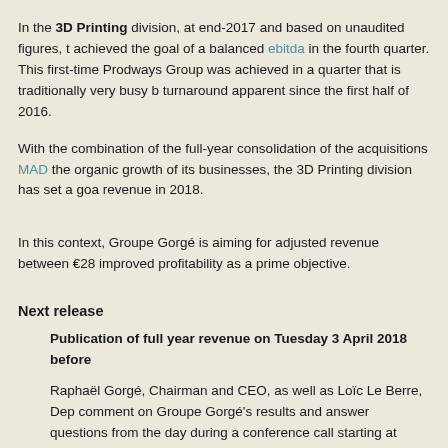In the 3D Printing division, at end-2017 and based on unaudited figures, the achieved the goal of a balanced ebitda in the fourth quarter. This first-time Prodways Group was achieved in a quarter that is traditionally very busy b turnaround apparent since the first half of 2016.
With the combination of the full-year consolidation of the acquisitions MAD the organic growth of its businesses, the 3D Printing division has set a goa revenue in 2018.
In this context, Groupe Gorgé is aiming for adjusted revenue between €28 improved profitability as a prime objective.
Next release
Publication of full year revenue on Tuesday 3 April 2018 before
Raphaël Gorgé, Chairman and CEO, as well as Loïc Le Berre, Depu comment on Groupe Gorgé's results and answer questions from the day during a conference call starting at 11:00am.
Conference call details will be available one week before the confer website http://www.groupe-gorge.com/en/blog/category/finance-spa